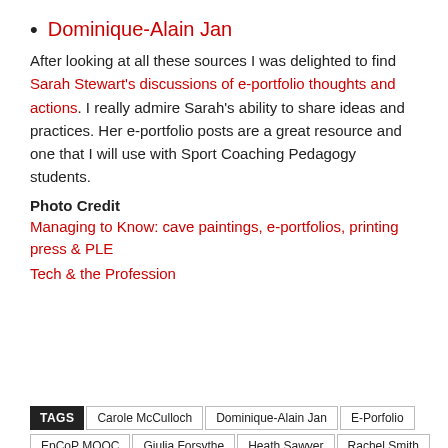Dominique-Alain Jan
After looking at all these sources I was delighted to find Sarah Stewart's discussions of e-portfolio thoughts and actions. I really admire Sarah's ability to share ideas and practices. Her e-portfolio posts are a great resource and one that I will use with Sport Coaching Pedagogy students.
Photo Credit
Managing to Know: cave paintings, e-portfolios, printing press & PLE
Tech & the Profession
TAGS  Carole McCulloch  Dominique-Alain Jan  E-Porfolio  EpCoP MOOC  Giulia Forsythe  Heath Sawyer  Rachel Smith